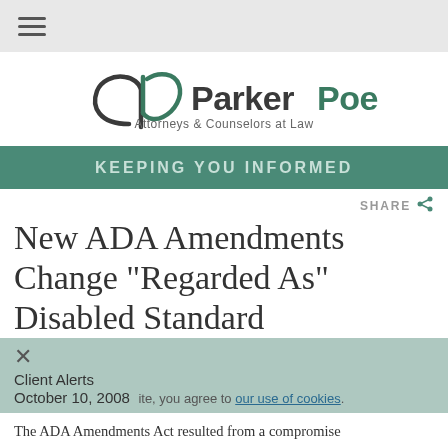[Figure (logo): Parker Poe logo with icon and text, tagline: Attorneys & Counselors at Law]
KEEPING YOU INFORMED
New ADA Amendments Change "Regarded As" Disabled Standard
Client Alerts
October 10, 2008
The ADA Amendments Act resulted from a compromise